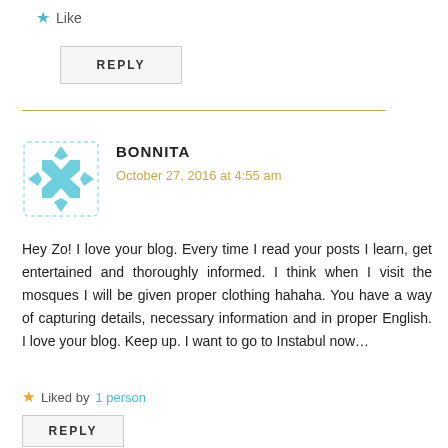★ Like
REPLY
BONNITA
October 27, 2016 at 4:55 am
Hey Zo! I love your blog. Every time I read your posts I learn, get entertained and thoroughly informed. I think when I visit the mosques I will be given proper clothing hahaha. You have a way of capturing details, necessary information and in proper English. I love your blog. Keep up. I want to go to Instabul now…
Liked by 1 person
REPLY